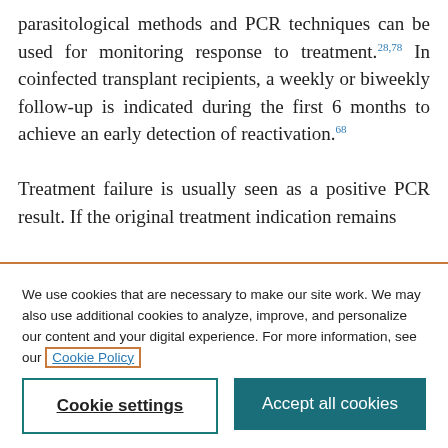parasitological methods and PCR techniques can be used for monitoring response to treatment.28,78 In coinfected transplant recipients, a weekly or biweekly follow-up is indicated during the first 6 months to achieve an early detection of reactivation.68
Treatment failure is usually seen as a positive PCR result. If the original treatment indication remains
We use cookies that are necessary to make our site work. We may also use additional cookies to analyze, improve, and personalize our content and your digital experience. For more information, see our Cookie Policy